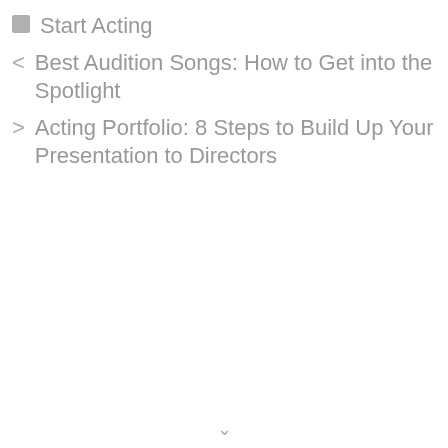Start Acting
< Best Audition Songs: How to Get into the Spotlight
> Acting Portfolio: 8 Steps to Build Up Your Presentation to Directors